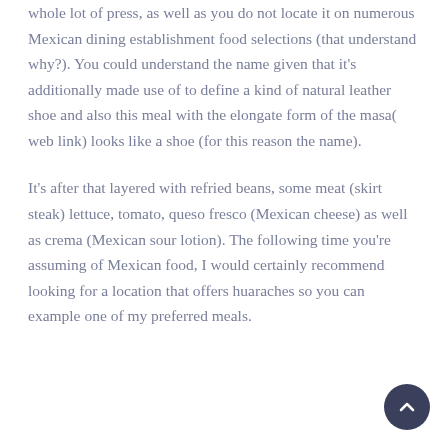whole lot of press, as well as you do not locate it on numerous Mexican dining establishment food selections (that understand why?). You could understand the name given that it's additionally made use of to define a kind of natural leather shoe and also this meal with the elongate form of the masa( web link) looks like a shoe (for this reason the name).
It's after that layered with refried beans, some meat (skirt steak) lettuce, tomato, queso fresco (Mexican cheese) as well as crema (Mexican sour lotion). The following time you're assuming of Mexican food, I would certainly recommend looking for a location that offers huaraches so you can example one of my preferred meals.